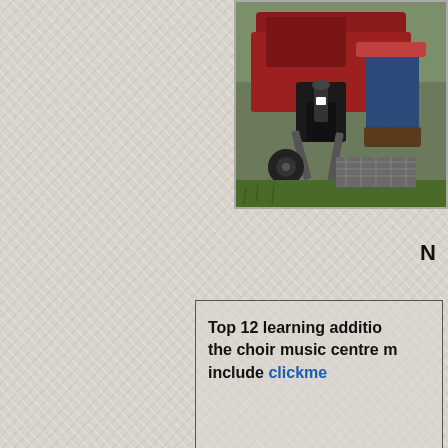[Figure (photo): Close-up photo of a person sitting on a red vintage tractor, showing the lower body/legs of the operator in jeans and boots, with tractor mechanical parts visible including wheels, pedals, and frame. Green grass visible at the bottom.]
N
Top 12 learning addition the choir music centre m include clickme